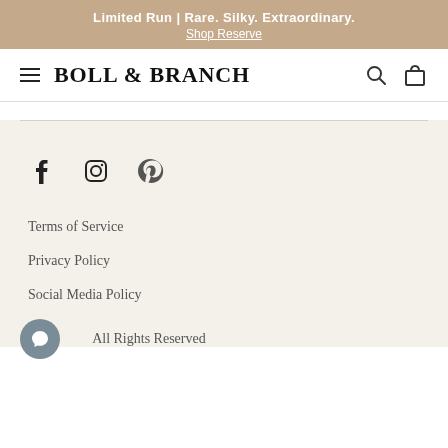Limited Run | Rare. Silky. Extraordinary. Shop Reserve
BOLL & BRANCH
[Figure (illustration): Social media icons: Facebook, Instagram, Pinterest]
Terms of Service
Privacy Policy
Social Media Policy
© All Rights Reserved